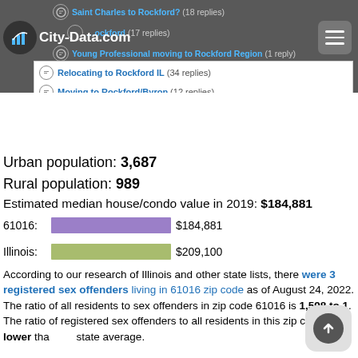City-Data.com navigation header with forum links
Saint Charles to Rockford? (18 replies)
Rockford (17 replies)
Young Professional moving to Rockford Region (1 reply)
Relocating to Rockford IL (34 replies)
Moving to Rockford/Byron (12 replies)
Metra 2050 Rail Dream (36 replies)
Urban population: 3,687
Rural population: 989
Estimated median house/condo value in 2019: $184,881
[Figure (bar-chart): Median house/condo value comparison]
According to our research of Illinois and other state lists, there were 3 registered sex offenders living in 61016 zip code as of August 24, 2022. The ratio of all residents to sex offenders in zip code 61016 is 1,598 to 1. The ratio of registered sex offenders to all residents in this zip code is lower than the state average.